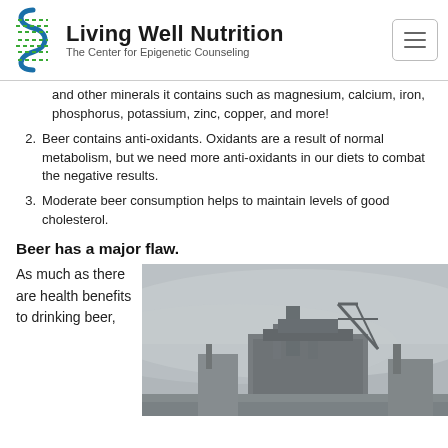Living Well Nutrition — The Center for Epigenetic Counseling
and other minerals it contains such as magnesium, calcium, iron, phosphorus, potassium, zinc, copper, and more!
2. Beer contains anti-oxidants. Oxidants are a result of normal metabolism, but we need more anti-oxidants in our diets to combat the negative results.
3. Moderate beer consumption helps to maintain levels of good cholesterol.
Beer has a major flaw.
As much as there are health benefits to drinking beer,
[Figure (photo): Industrial or brewery building photographed in foggy/misty conditions, showing large metal structures and equipment silhouetted against a grey sky.]